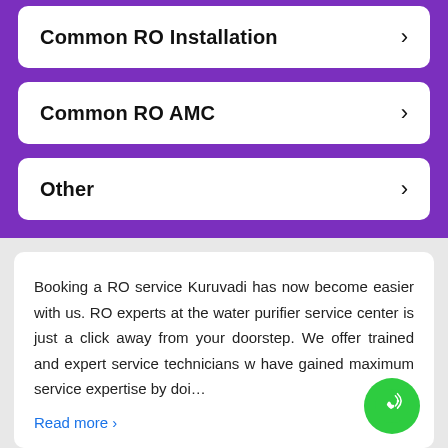Common RO Installation
Common RO AMC
Other
Booking a RO service Kuruvadi has now become easier with us. RO experts at the water purifier service center is just a click away from your doorstep. We offer trained and expert service technicians who have gained maximum service expertise by doi…
Read more >